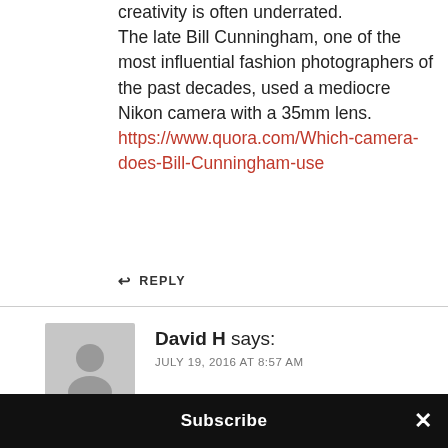creativity is often underrated.
The late Bill Cunningham, one of the most influential fashion photographers of the past decades, used a mediocre Nikon camera with a 35mm lens.
https://www.quora.com/Which-camera-does-Bill-Cunningham-use
↩ REPLY
[Figure (illustration): Generic grey avatar icon showing a silhouette of a person]
David H says:
JULY 19, 2016 AT 8:57 AM
Another good option to keep your kit small is to keep the filter sizes the same. The 21mm Voightlander
Subscribe ×